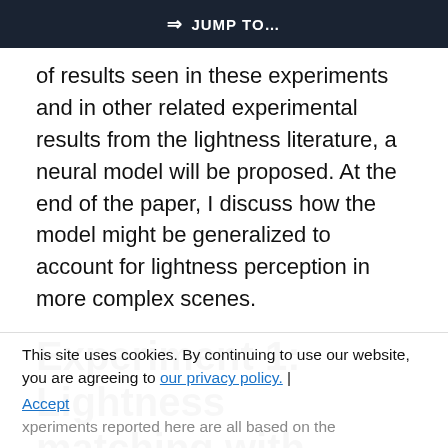⇒ JUMP TO…
of results seen in these experiments and in other related experimental results from the lightness literature, a neural model will be proposed. At the end of the paper, I discuss how the model might be generalized to account for lightness perception in more complex scenes.
Experiment 1: Lightness matching with double-decrement DAR displays of these sizes
The experiments reported here are all based on the
This site uses cookies. By continuing to use our website, you are agreeing to our privacy policy. | Accept